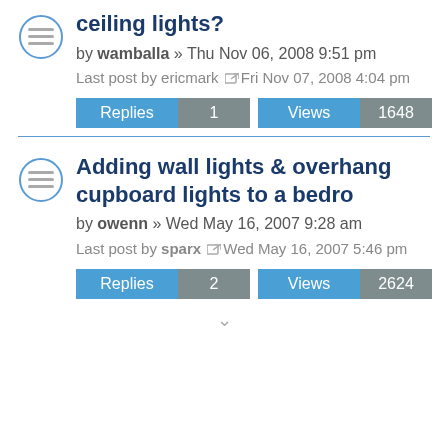ceiling lights?
by wamballa » Thu Nov 06, 2008 9:51 pm
Last post by ericmark Fri Nov 07, 2008 4:04 pm
Replies 1 Views 1648
Adding wall lights & overhang cupboard lights to a bedro
by owenn » Wed May 16, 2007 9:28 am
Last post by sparx Wed May 16, 2007 5:46 pm
Replies 2 Views 2624